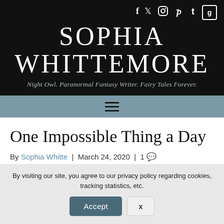[Figure (other): Social media icons row: Facebook (f), Twitter, Instagram, Pinterest, Tumblr, Goodreads (g) — white icons on black background, some in bordered boxes]
SOPHIA WHITTEMORE
Night Owl. Paranormal Fantasy Writer. Fairy Tales Forever.
[Figure (other): Hamburger menu icon (three horizontal lines) on a slate/teal grey navigation bar]
One Impossible Thing a Day
By Sophia Whitte | March 24, 2020 | 1 [comment icon]
By visiting our site, you agree to our privacy policy regarding cookies, tracking statistics, etc.